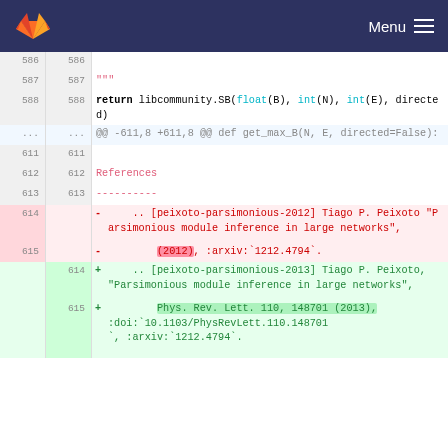GitLab | Menu
586  586
587  587     """
588  588       return libcommunity.SB(float(B), int(N), int(E), directed)
...  ...  @@ -611,8 +611,8 @@ def get_max_B(N, E, directed=False):
611  611
612  612       References
613  613       ----------
614       -     .. [peixoto-parsimonious-2012] Tiago P. Peixoto "Parsimonious module inference in large networks",
615       -           (2012), :arxiv:`1212.4794`.
     614  +     .. [peixoto-parsimonious-2013] Tiago P. Peixoto, "Parsimonious module inference in large networks",
     615  +           Phys. Rev. Lett. 110, 148701 (2013), :doi:`10.1103/PhysRevLett.110.148701`, :arxiv:`1212.4794`.